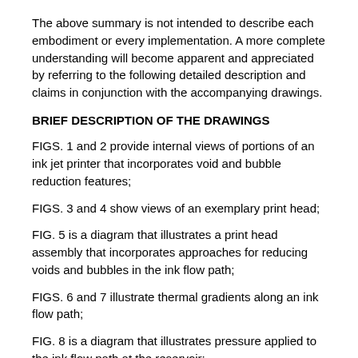The above summary is not intended to describe each embodiment or every implementation. A more complete understanding will become apparent and appreciated by referring to the following detailed description and claims in conjunction with the accompanying drawings.
BRIEF DESCRIPTION OF THE DRAWINGS
FIGS. 1 and 2 provide internal views of portions of an ink jet printer that incorporates void and bubble reduction features;
FIGS. 3 and 4 show views of an exemplary print head;
FIG. 5 is a diagram that illustrates a print head assembly that incorporates approaches for reducing voids and bubbles in the ink flow path;
FIGS. 6 and 7 illustrate thermal gradients along an ink flow path;
FIG. 8 is a diagram that illustrates pressure applied to the ink flow path at the reservoir;
FIGS. 9 and 10 illustrate various approaches to passively